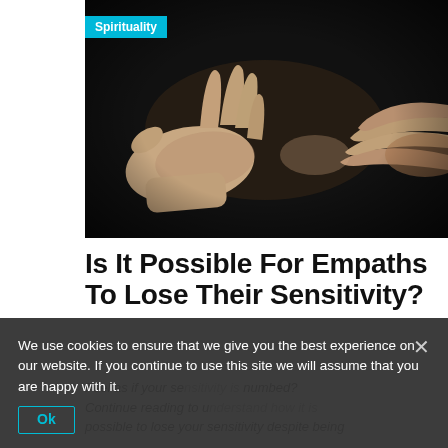[Figure (photo): Two hands reaching toward each other against a dark background, suggesting empathy or connection]
Spirituality
Is It Possible For Empaths To Lose Their Sensitivity?
Feel as if your sensitivity is numbed? Continue reading to understand how it is possible to lose your sensitivity despite being
We use cookies to ensure that we give you the best experience on our website. If you continue to use this site we will assume that you are happy with it.